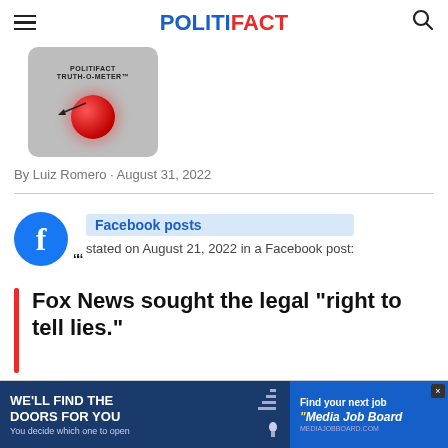POLITIFACT
[Figure (illustration): PolitiFact Truth-O-Meter gauge device illustration with a red button/light]
By Luiz Romero · August 31, 2022
Facebook posts stated on August 21, 2022 in a Facebook post:
Fox News sought the legal "right to tell lies."
[Figure (illustration): Advertisement banner: WE'LL FIND THE DOORS FOR YOU - You decide which one to open / Find your next job - Media Job Board]